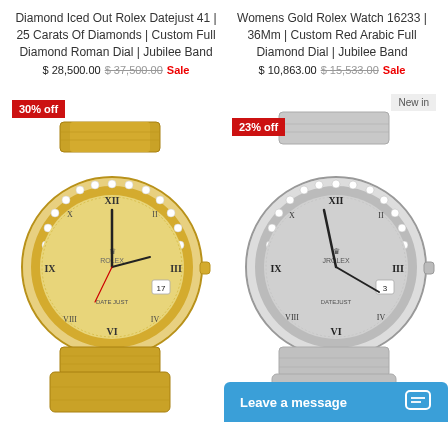Diamond Iced Out Rolex Datejust 41 | 25 Carats Of Diamonds | Custom Full Diamond Roman Dial | Jubilee Band
$ 28,500.00  $ 37,500.00  Sale
Womens Gold Rolex Watch 16233 | 36Mm | Custom Red Arabic Full Diamond Dial | Jubilee Band
$ 10,863.00  $ 15,533.00  Sale
[Figure (photo): Gold and silver diamond Rolex Datejust 41 watch with diamond bezel, gold diamond dial with Roman numerals, jubilee band. Red badge: 30% off]
[Figure (photo): Silver Rolex Datejust watch with diamond bezel, silver diamond dial with Roman numerals, jubilee band. Badges: New in, 23% off]
Leave a message